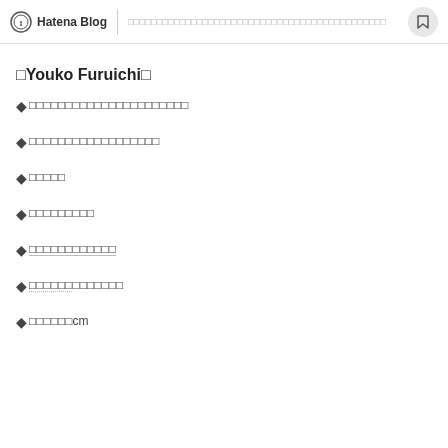Hatena Blog | □□□□□□□□□□□□□□□□□□□□□□□□□□□□□□□□□□□□
□Youko Furuichi□
◆□□□□□□□□□□□□□□□□□□□□□
◆□□□□□□□□□□□□□□□□□
◆□□□□□
◆□□□□□□□□□
◆□□□□□□□□□□□□
◆□□□□□□□□□□□□□
◆□□□□□□cm